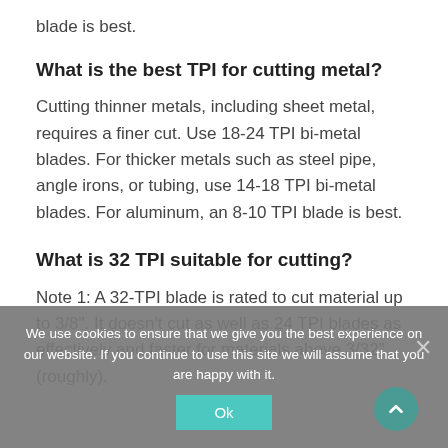blade is best.
What is the best TPI for cutting metal?
Cutting thinner metals, including sheet metal, requires a finer cut. Use 18-24 TPI bi-metal blades. For thicker metals such as steel pipe, angle irons, or tubing, use 14-18 TPI bi-metal blades. For aluminum, an 8-10 TPI blade is best.
What is 32 TPI suitable for cutting?
Note 1: A 32-TPI blade is rated to cut material up to 3/8". It doesn't cut as well as 24 TPI blades as effectively and faster for materials above 3/32" (roughly).
We use cookies to ensure that we give you the best experience on our website. If you continue to use this site we will assume that you are happy with it.